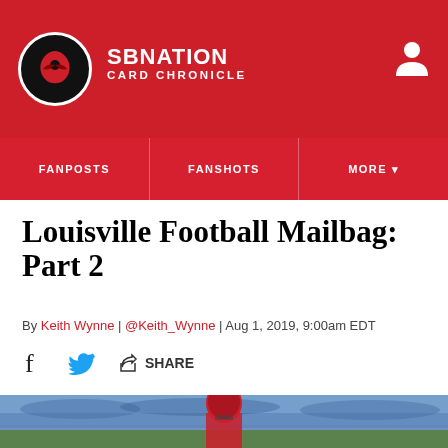SB NATION | CARD CHRONICLE
FANPOSTS
FANSHOTS
MORE
Louisville Football Mailbag: Part 2
By Keith Wynne | @Keith_Wynne | Aug 1, 2019, 9:00am EDT
SHARE
[Figure (photo): Louisville Cardinals football player in red helmet and uniform on field with blue stadium background]